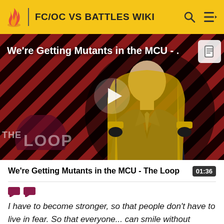FC/OC VS BATTLES WIKI
[Figure (screenshot): Video thumbnail showing a bald man in a suit seated in a chair, with a diagonal red/dark stripe pattern background. 'The Loop' logo visible in lower left. Play button in center. Title overlay reads 'We're Getting Mutants in the MCU -'. Document icon in top right corner.]
We're Getting Mutants in the MCU - The Loop
01:36
I have to become stronger, so that people don't have to live in fear. So that everyone... can smile without